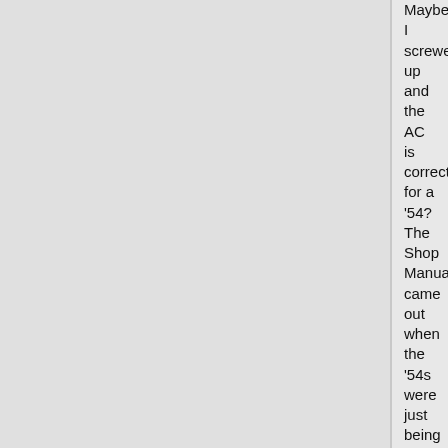Maybe I screwed up and the AC is correct for a '54? The Shop Manual came out when the '54s were just being built. It shows the Seniors having the AC.

Kind of complicating matters is that the car has Power Brakes. I'm wondering if that made a difference in which fuel pump Packard put in. I doubt the AC that is in there now is original, though. It has been molested for sure, and was probably a rebuild, or could be the original with an amateur rebuild.

Any insights are much appreciated.
Posted on: 2019/10/13 14:09